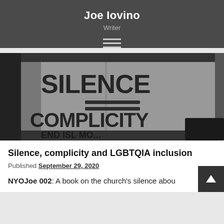Joe Iovino
Writer
[Figure (photo): Black and white photo of a cardboard protest sign reading 'SILENCE = COMPLICITY END ISLAMOPHOBIA']
Silence, complicity and LGBTQIA inclusion
Published September 29, 2020
NYOJoe 002: A book on the church's silence abou